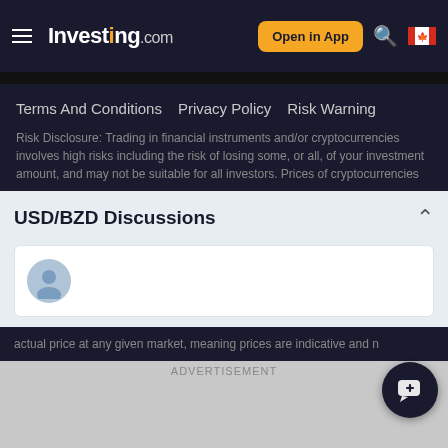Investing.com — Open in App
Terms And Conditions   Privacy Policy   Risk Warning
Risk Disclosure: Trading in financial instruments and/or cryptocurrencies involves high risks including the risk of losing some, or all, of your investment amount, and may not be suitable for all investors. Prices of cryptocurrencies
USD/BZD Discussions
[Figure (illustration): User comment input box with avatar icon on the left]
actual price at any given market, meaning prices are indicative and n
ADVERTISEMENT